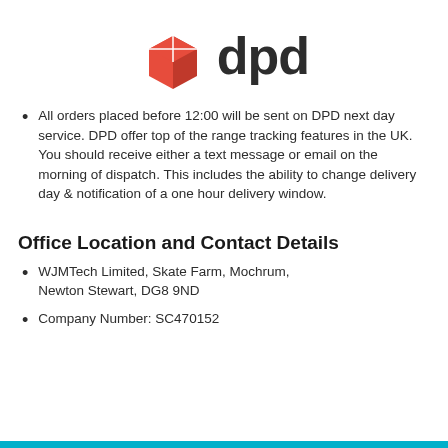[Figure (logo): DPD logo: red 3D box icon on the left, bold dark 'dpd' text on the right]
All orders placed before 12:00 will be sent on DPD next day service. DPD offer top of the range tracking features in the UK. You should receive either a text message or email on the morning of dispatch. This includes the ability to change delivery day & notification of a one hour delivery window.
Office Location and Contact Details
WJMTech Limited, Skate Farm, Mochrum, Newton Stewart, DG8 9ND
Company Number: SC470152